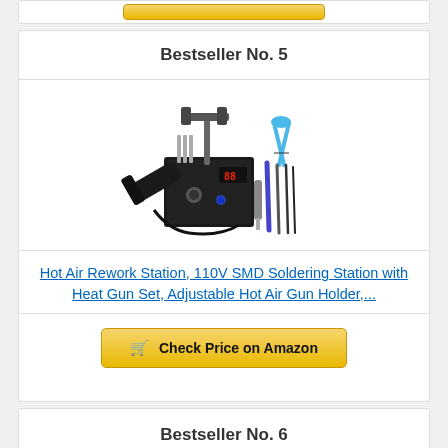[Figure (other): Yellow/gold 'Check Price on Amazon' button at the top, partially visible]
Bestseller No. 5
[Figure (photo): Hot air rework station product photo showing a black soldering station unit with digital display, hot air gun, metal stand with holder arm, blue pliers, soldering tools and tweezers]
Hot Air Rework Station, 110V SMD Soldering Station with Heat Gun Set, Adjustable Hot Air Gun Holder,...
[Figure (other): Yellow/gold 'Check Price on Amazon' button with shopping cart icon]
Bestseller No. 6